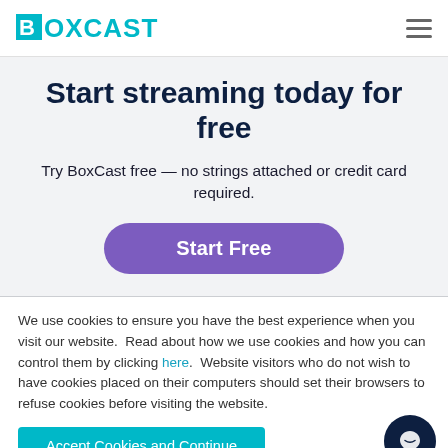BOXCAST
Start streaming today for free
Try BoxCast free — no strings attached or credit card required.
Start Free
We use cookies to ensure you have the best experience when you visit our website. Read about how we use cookies and how you can control them by clicking here. Website visitors who do not wish to have cookies placed on their computers should set their browsers to refuse cookies before visiting the website.
Accept Cookies and Continue